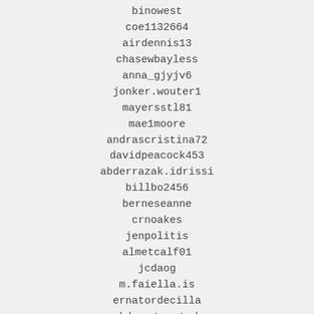binowest
coe1132664
airdennis13
chasewbayless
anna_gjyjv6
jonker.wouter1
mayersstl81
mae1moore
andrascristina72
davidpeacock453
abderrazak.idrissi
billbo2456
berneseanne
crnoakes
jenpolitis
almetcalf01
jcdaog
m.faiella.is
ernatordecilla
deboortaunted
lika.dyshekova
dd.berrozpe
jade.teauge
jos_chillin